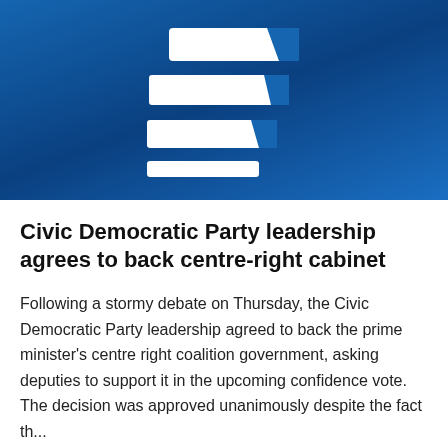[Figure (logo): Czech Radio logo — white stylized letter R made of three horizontal parallelogram-shaped bars on a blue gradient background]
Civic Democratic Party leadership agrees to back centre-right cabinet
Following a stormy debate on Thursday, the Civic Democratic Party leadership agreed to back the prime minister's centre right coalition government, asking deputies to support it in the upcoming confidence vote. The decision was approved unanimously despite the fact that...